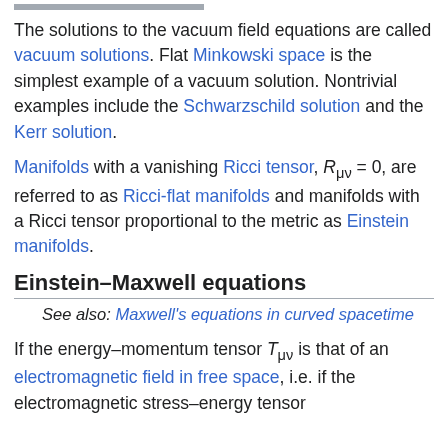The solutions to the vacuum field equations are called vacuum solutions. Flat Minkowski space is the simplest example of a vacuum solution. Nontrivial examples include the Schwarzschild solution and the Kerr solution.
Manifolds with a vanishing Ricci tensor, R_μν = 0, are referred to as Ricci-flat manifolds and manifolds with a Ricci tensor proportional to the metric as Einstein manifolds.
Einstein–Maxwell equations
See also: Maxwell's equations in curved spacetime
If the energy–momentum tensor T_μν is that of an electromagnetic field in free space, i.e. if the electromagnetic stress–energy tensor